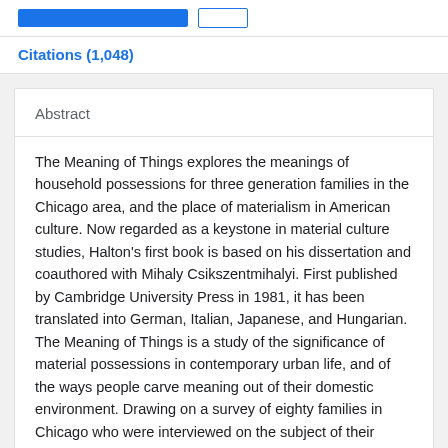Citations (1,048)
Abstract
The Meaning of Things explores the meanings of household possessions for three generation families in the Chicago area, and the place of materialism in American culture. Now regarded as a keystone in material culture studies, Halton's first book is based on his dissertation and coauthored with Mihaly Csikszentmihalyi. First published by Cambridge University Press in 1981, it has been translated into German, Italian, Japanese, and Hungarian. The Meaning of Things is a study of the significance of material possessions in contemporary urban life, and of the ways people carve meaning out of their domestic environment. Drawing on a survey of eighty families in Chicago who were interviewed on the subject of their feelings about common household objects, Mihaly Csikszentmihalyi and Eugene Rochberg-Halton provide a unique perspective on materialism, American culture, and the self. They begin by